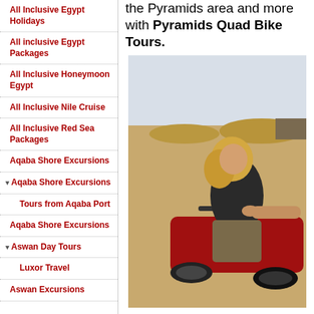All Inclusive Egypt Holidays
All inclusive Egypt Packages
All Inclusive Honeymoon Egypt
All Inclusive Nile Cruise
All Inclusive Red Sea Packages
Aqaba Shore Excursions
▾ Aqaba Shore Excursions
Tours from Aqaba Port
Aqaba Shore Excursions
▾ Aswan Day Tours
Luxor Travel
Aswan Excursions
the Pyramids area and more with Pyramids Quad Bike Tours.
[Figure (photo): A woman with blonde hair and sunglasses sitting on a red quad bike in a sandy desert landscape, viewed from the side, looking back toward the camera.]